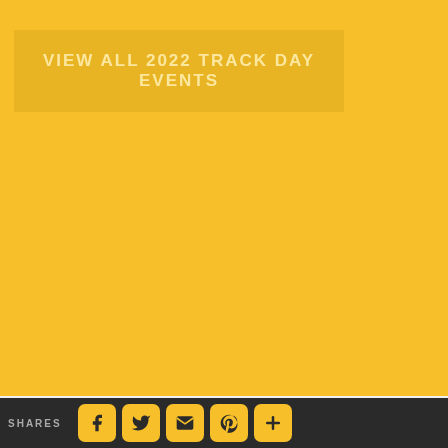[Figure (other): Yellow background page with a semi-transparent banner button reading VIEW ALL 2022 TRACK DAY EVENTS]
VIEW ALL 2022 TRACK DAY EVENTS
SHARES [Facebook icon] [Twitter icon] [Email icon] [Pinterest icon] [More icon]